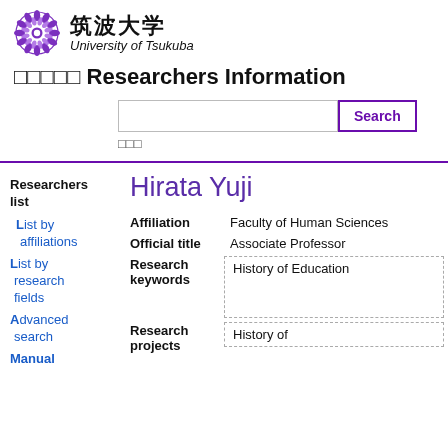[Figure (logo): University of Tsukuba logo — purple chrysanthemum crest with Japanese and English name]
筑波大学 Researchers Information
Search (search input and button)
詳細検索
Hirata Yuji
Researchers list
List by affiliations
List by research fields
Advanced search
Manual
| Field | Value |
| --- | --- |
| Affiliation | Faculty of Human Sciences |
| Official title | Associate Professor |
| Research keywords | History of Education |
| Research projects | History of |